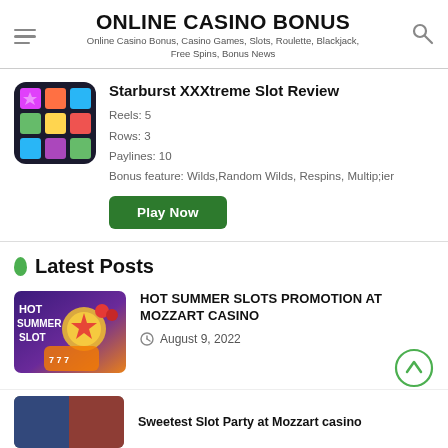ONLINE CASINO BONUS
Online Casino Bonus, Casino Games, Slots, Roulette, Blackjack, Free Spins, Bonus News
Starburst XXXtreme Slot Review
Reels: 5
Rows: 3
Paylines: 10
Bonus feature: Wilds,Random Wilds, Respins, Multip;ier
Play Now
Latest Posts
HOT SUMMER SLOTS PROMOTION AT MOZZART CASINO
August 9, 2022